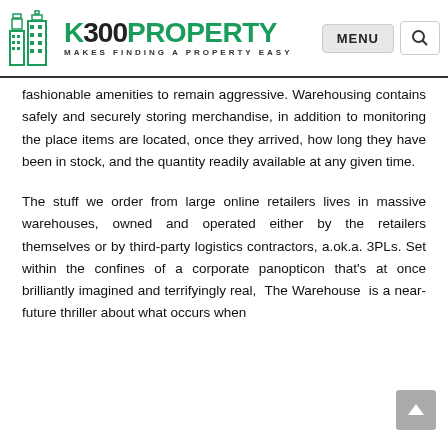K300PROPERTY — MAKES FINDING A PROPERTY EASY
fashionable amenities to remain aggressive. Warehousing contains safely and securely storing merchandise, in addition to monitoring the place items are located, once they arrived, how long they have been in stock, and the quantity readily available at any given time.
The stuff we order from large online retailers lives in massive warehouses, owned and operated either by the retailers themselves or by third-party logistics contractors, a.ok.a. 3PLs. Set within the confines of a corporate panopticon that's at once brilliantly imagined and terrifyingly real, The Warehouse is a near-future thriller about what occurs when